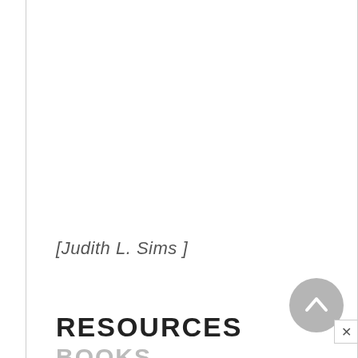[ Judith L. Sims ]
RESOURCES
BOOKS